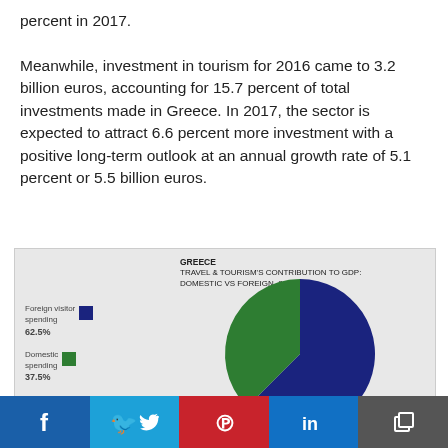percent in 2017.

Meanwhile, investment in tourism for 2016 came to 3.2 billion euros, accounting for 15.7 percent of total investments made in Greece. In 2017, the sector is expected to attract 6.6 percent more investment with a positive long-term outlook at an annual growth rate of 5.1 percent or 5.5 billion euros.
[Figure (pie-chart): GREECE TRAVEL & TOURISM'S CONTRIBUTION TO GDP: DOMESTIC VS FOREIGN, 2016]
f  Twitter  Pinterest  in  Copy